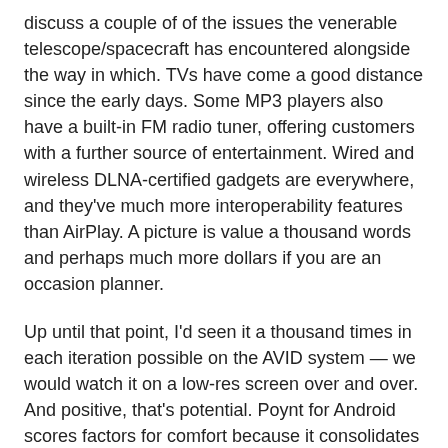discuss a couple of of the issues the venerable telescope/spacecraft has encountered alongside the way in which. TVs have come a good distance since the early days. Some MP3 players also have a built-in FM radio tuner, offering customers with a further source of entertainment. Wired and wireless DLNA-certified gadgets are everywhere, and they've much more interoperability features than AirPlay. A picture is value a thousand words and perhaps much more dollars if you are an occasion planner.
Up until that point, I'd seen it a thousand times in each iteration possible on the AVID system — we would watch it on a low-res screen over and over. And positive, that's potential. Poynt for Android scores factors for comfort because it consolidates a number of search features into a single app, automatically offering information based on your current location or another location you place in. The plain competitor to the Android MID is the iPad. Now, you would possibly suppose it would be a terrific concept to just place a queen on the board, making an attempt totally different combos before you hit on all of them. In a game of